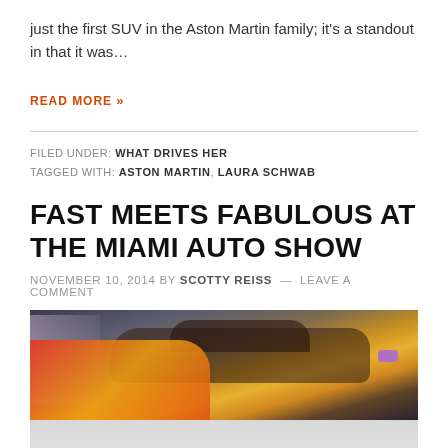just the first SUV in the Aston Martin family; it's a standout in that it was…
READ MORE »
FILED UNDER: WHAT DRIVES HER
TAGGED WITH: ASTON MARTIN, LAURA SCHWAB
FAST MEETS FABULOUS AT THE MIAMI AUTO SHOW
NOVEMBER 10, 2014 BY SCOTTY REISS — LEAVE A COMMENT
[Figure (photo): Photo of colorful art car at Miami Auto Show, showing a car with vivid graphic artwork on its hood, a purple side mirror visible, and other cars in the background]